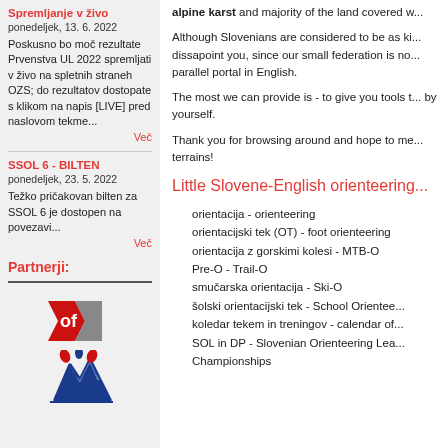Spremljanje v živo
ponedeljek, 13. 6. 2022
Poskusno bo moč rezultate Prvenstva UL 2022 spremljati v živo na spletnih straneh OZS; do rezultatov dostopate s klikom na napis [LIVE] pred naslovom tekme...
Več
SSOL 6 - BILTEN
ponedeljek, 23. 5. 2022
Težko pričakovan bilten za SSOL 6 je dostopen na povezavi...
Več
Partnerji:
[Figure (logo): IOF logo - red and grey stylized orienteering figure]
[Figure (logo): Slovenian Olympic Committee logo - blue mountain peaks with red and blue flame above]
alpine karst and majority of the land covered w...
Although Slovenians are considered to be as ki... dissapoint you, since our small federation is no... parallel portal in English.
The most we can provide is - to give you tools t... by yourself.
Thank you for browsing around and hope to me... terrains!
Little Slovene-English orienteering...
orientacija - orienteering
orientacijski tek (OT) - foot orienteering
orientacija z gorskimi kolesi - MTB-O
Pre-O - Trail-O
smučarska orientacija - Ski-O
šolski orientacijski tek - School Orientee...
koledar tekem in treningov - calendar of...
SOL in DP - Slovenian Orienteering Lea... Championships